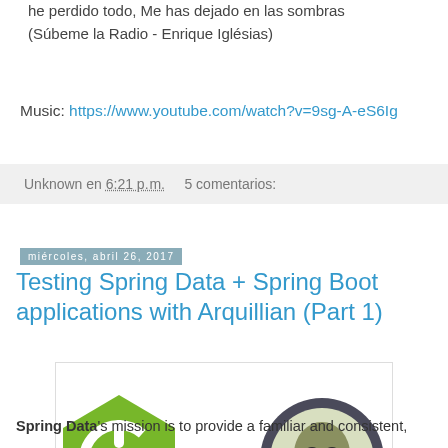he perdido todo, Me has dejado en las sombras (Súbeme la Radio - Enrique Iglésias)
Music: https://www.youtube.com/watch?v=9sg-A-eS6Ig
Unknown en 6:21 p. m.    5 comentarios:
miércoles, abril 26, 2017
Testing Spring Data + Spring Boot applications with Arquillian (Part 1)
[Figure (illustration): Spring Boot logo (green hexagon with power icon) plus sign and Arquillian logo (dark circular badge with alien face)]
Spring Data's mission is to provide a familiar and consistent,